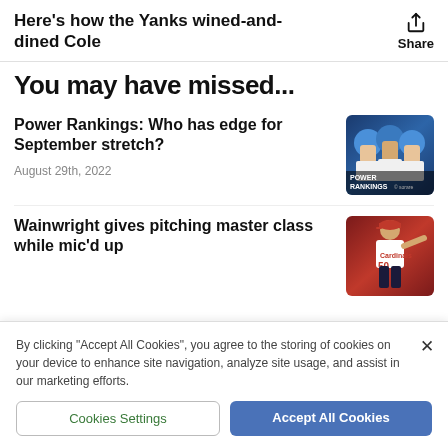Here's how the Yanks wined-and-dined Cole
You may have missed...
Power Rankings: Who has edge for September stretch?
August 29th, 2022
[Figure (photo): Baseball players in blue uniforms with POWER RANKINGS overlay text]
Wainwright gives pitching master class while mic'd up
[Figure (photo): Baseball pitcher in Cardinals uniform number 50]
By clicking "Accept All Cookies", you agree to the storing of cookies on your device to enhance site navigation, analyze site usage, and assist in our marketing efforts.
Cookies Settings
Accept All Cookies